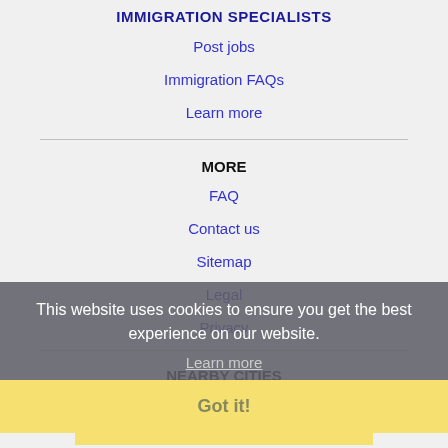IMMIGRATION SPECIALISTS
Post jobs
Immigration FAQs
Learn more
MORE
FAQ
Contact us
Sitemap
Legal
Privacy
This website uses cookies to ensure you get the best experience on our website.
Learn more
Got it!
NEARBY CITIES
Appleton, WI Jobs
Arlington Heights, IL Jobs
Bartlett, IL Jobs
Buffalo Grove, IL Jobs